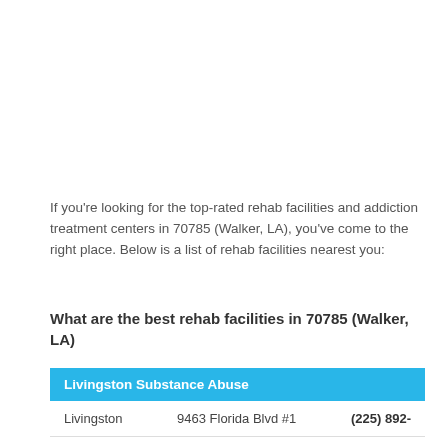If you're looking for the top-rated rehab facilities and addiction treatment centers in 70785 (Walker, LA), you've come to the right place. Below is a list of rehab facilities nearest you:
What are the best rehab facilities in 70785 (Walker, LA)
| Livingston Substance Abuse |  |  |
| --- | --- | --- |
| Livingston | 9463 Florida Blvd #1 | (225) 892- |